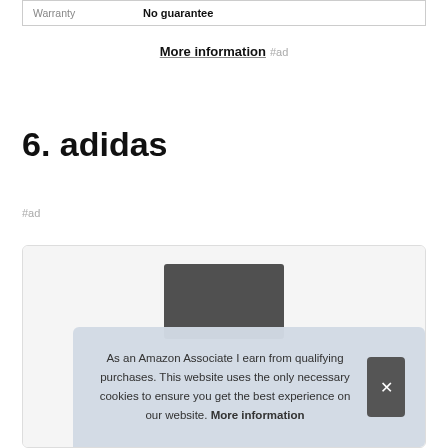| Warranty | No guarantee |
| --- | --- |
More information #ad
6. adidas
#ad
[Figure (photo): Adidas shoe product image inside a card with border]
As an Amazon Associate I earn from qualifying purchases. This website uses the only necessary cookies to ensure you get the best experience on our website. More information